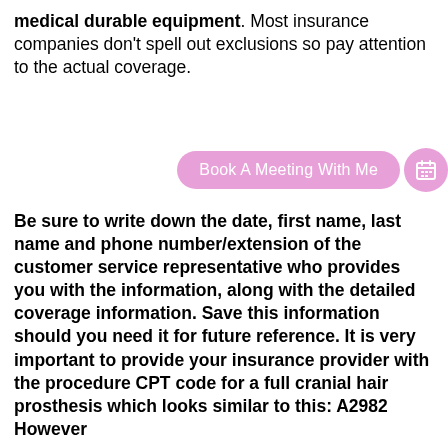medical durable equipment. Most insurance companies don't spell out exclusions so pay attention to the actual coverage.
[Figure (other): Pink rounded button labeled 'Book A Meeting With Me' with a pink circular calendar icon to its right]
Be sure to write down the date, first name, last name and phone number/extension of the customer service representative who provides you with the information, along with the detailed coverage information. Save this information should you need it for future reference. It is very important to provide your insurance provider with the procedure CPT code for a full cranial hair prosthesis which looks similar to this: A2982 However